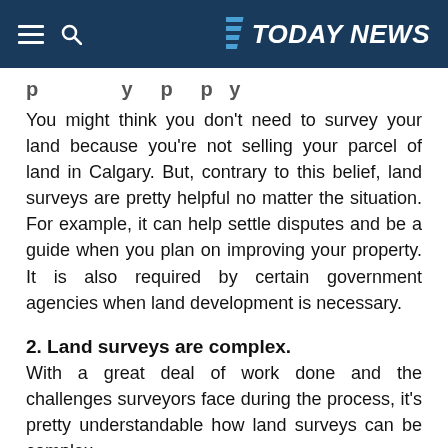TODAY NEWS
You might think you don't need to survey your land because you're not selling your parcel of land in Calgary. But, contrary to this belief, land surveys are pretty helpful no matter the situation. For example, it can help settle disputes and be a guide when you plan on improving your property. It is also required by certain government agencies when land development is necessary.
2. Land surveys are complex.
With a great deal of work done and the challenges surveyors face during the process, it's pretty understandable how land surveys can be complex.
To execute their jobs successfully, surveyors go through...